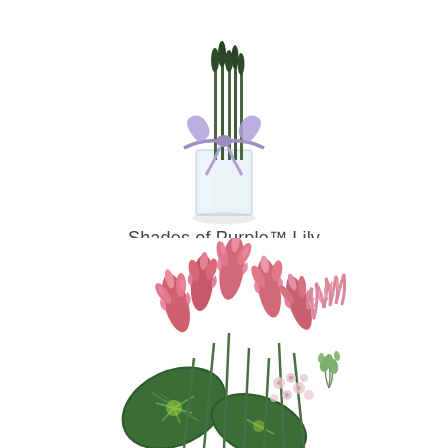[Figure (photo): A tall glass vase with green stems/lily buds and a lavender purple ribbon tied around the top, photographed on white background.]
Shades of Purple™ Lily
$99.99
[Figure (photo): A tropical floral arrangement with pink ginger flowers, dark green anthurium leaves, and light pink blossoms photographed on white background.]